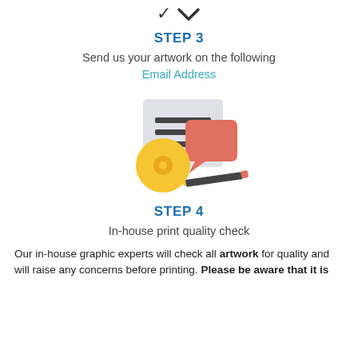[Figure (other): Chevron/down arrow icon]
STEP 3
Send us your artwork on the following
Email Address
[Figure (illustration): Illustration of a document with text lines, a speech bubble/chat icon in salmon/red, a yellow CD/disc, and a pencil]
STEP 4
In-house print quality check
Our in-house graphic experts will check all artwork for quality and will raise any concerns before printing. Please be aware that it is